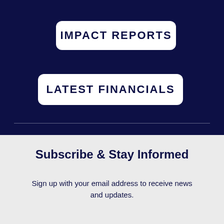IMPACT REPORTS
LATEST FINANCIALS
Subscribe & Stay Informed
Sign up with your email address to receive news and updates.